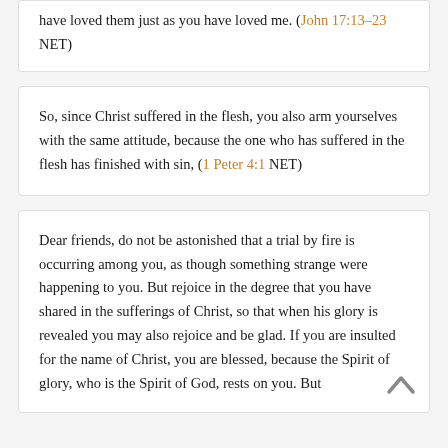have loved them just as you have loved me. (John 17:13–23 NET)
So, since Christ suffered in the flesh, you also arm yourselves with the same attitude, because the one who has suffered in the flesh has finished with sin, (1 Peter 4:1 NET)
Dear friends, do not be astonished that a trial by fire is occurring among you, as though something strange were happening to you. But rejoice in the degree that you have shared in the sufferings of Christ, so that when his glory is revealed you may also rejoice and be glad. If you are insulted for the name of Christ, you are blessed, because the Spirit of glory, who is the Spirit of God, rests on you. But